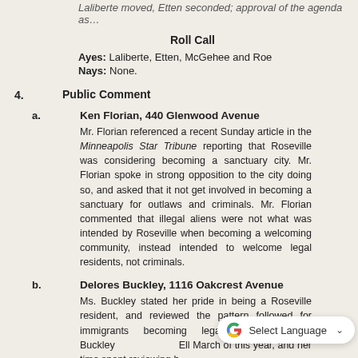Laliberte moved, Etten seconded; approval of the agenda as…
Roll Call
Ayes: Laliberte, Etten, McGehee and Roe
Nays: None.
4.   Public Comment
a.   Ken Florian, 440 Glenwood Avenue
Mr. Florian referenced a recent Sunday article in the Minneapolis Star Tribune reporting that Roseville was considering becoming a sanctuary city. Mr. Florian spoke in strong opposition to the city doing so, and asked that it not get involved in becoming a sanctuary for outlaws and criminals. Mr. Florian commented that illegal aliens were not what was intended by Roseville when becoming a welcoming community, instead intended to welcome legal residents, not criminals.
b.   Delores Buckley, 1116 Oakcrest Avenue
Ms. Buckley stated her pride in being a Roseville resident, and reviewed the pattern followed for immigrants becoming legal residents. Ms. Buckley… Ellis Island… March of this year, and her time spent reviewing h…